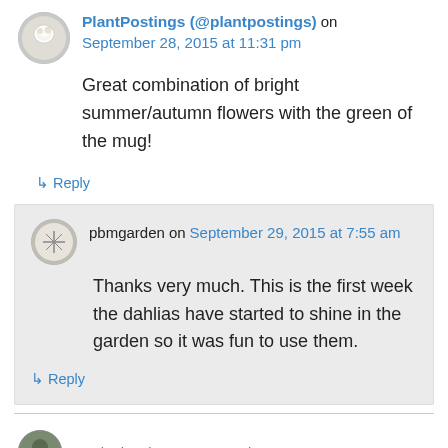PlantPostings (@plantpostings) on September 28, 2015 at 11:31 pm
Great combination of bright summer/autumn flowers with the green of the mug!
↳ Reply
pbmgarden on September 29, 2015 at 7:55 am
Thanks very much. This is the first week the dahlias have started to shine in the garden so it was fun to use them.
↳ Reply
gardeninacity on September 29, 2015 at 1:00 am